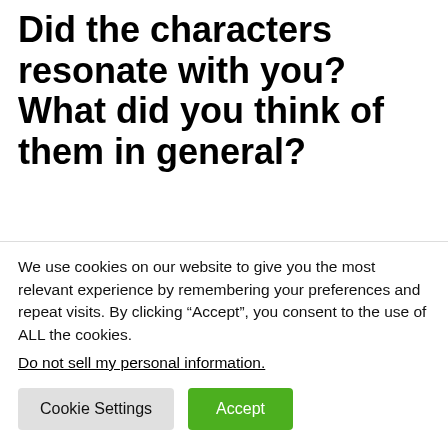Did the characters resonate with you? What did you think of them in general?
Andrea: Binti is our POV character, and we spend a good portion of the story alone in her head. Not only is Binti different from the other students on their way to Oomza Uni, she's soon attacked and held hostage by hostile aliens. This story is about Binti and how she defines
We use cookies on our website to give you the most relevant experience by remembering your preferences and repeat visits. By clicking “Accept”, you consent to the use of ALL the cookies.
Do not sell my personal information.
Cookie Settings   Accept